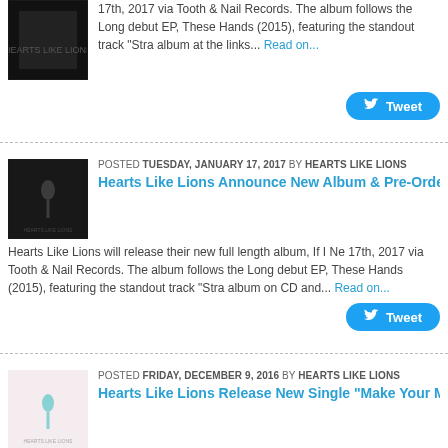17th, 2017 via Tooth & Nail Records. The album follows the Long debut EP, These Hands (2015), featuring the standout track "Stra album at the links... Read on...
[Figure (other): Twitter Tweet button]
POSTED TUESDAY, JANUARY 17, 2017 BY HEARTS LIKE LIONS
[Figure (photo): Hearts Like Lions album cover - dark background with figure]
Hearts Like Lions Announce New Album & Pre-Orde
Hearts Like Lions will release their new full length album, If I Ne 17th, 2017 via Tooth & Nail Records. The album follows the Long debut EP, These Hands (2015), featuring the standout track "Stra album on CD and... Read on...
[Figure (other): Twitter Tweet button]
POSTED FRIDAY, DECEMBER 9, 2016 BY HEARTS LIKE LIONS
[Figure (photo): Hearts Like Lions album cover - pink/light background with figure]
Hearts Like Lions Release New Single "Make Your M
Hearts Like Lions have released their new song "Make Your Mov everywhere!